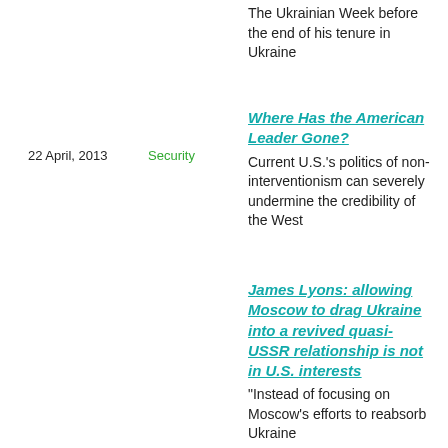The Ukrainian Week before the end of his tenure in Ukraine
22 April, 2013
Security
Where Has the American Leader Gone?
Current U.S.'s politics of non-interventionism can severely undermine the credibility of the West
James Lyons: allowing Moscow to drag Ukraine into a revived quasi-USSR relationship is not in U.S. interests
“Instead of focusing on Moscow’s efforts to reabsorb Ukraine